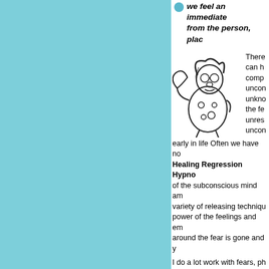we feel an immediate... from the person, pla...
[Figure (illustration): Cartoon drawing of a caveman/primitive person holding a club, wearing spotted clothing]
There... can h... comp... uncon... unkno... the fe... unres... uncon... early in life Often we have no...
Healing Regression Hypno... of the subconscious mind am... variety of releasing techniqu... power of the feelings and em... around the fear is gone and y...
I do a lot work with fears, ph... Direct Suggestion Hypnos... Hypnotherapy work with the...